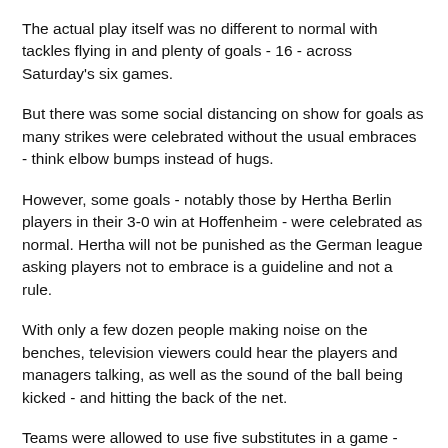The actual play itself was no different to normal with tackles flying in and plenty of goals - 16 - across Saturday's six games.
But there was some social distancing on show for goals as many strikes were celebrated without the usual embraces - think elbow bumps instead of hugs.
However, some goals - notably those by Hertha Berlin players in their 3-0 win at Hoffenheim - were celebrated as normal. Hertha will not be punished as the German league asking players not to embrace is a guideline and not a rule.
With only a few dozen people making noise on the benches, television viewers could hear the players and managers talking, as well as the sound of the ball being kicked - and hitting the back of the net.
Teams were allowed to use five substitutes in a game - which other leagues will have the option to do when they